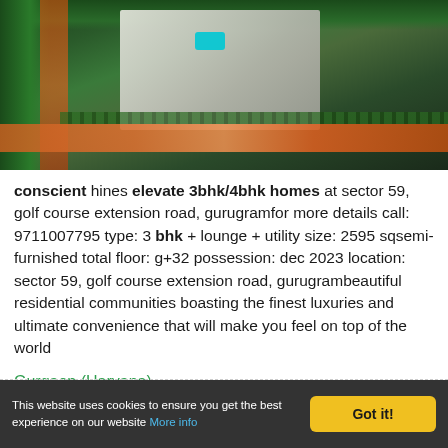[Figure (photo): Aerial view of a luxury residential apartment complex with tall towers, swimming pool, landscaped areas, and road with light trails at night/dusk. Green trees surround the development.]
conscient hines elevate 3bhk/4bhk homes at sector 59, golf course extension road, gurugramfor more details call: 9711007795 type: 3 bhk + lounge + utility size: 2595 sqsemi-furnished total floor: g+32 possession: dec 2023 location: sector 59, golf course extension road, gurugrambeautiful residential communities boasting the finest luxuries and ultimate convenience that will make you feel on top of the world
Gurgaon (Haryana)
This website uses cookies to ensure you get the best experience on our website More info   Got it!